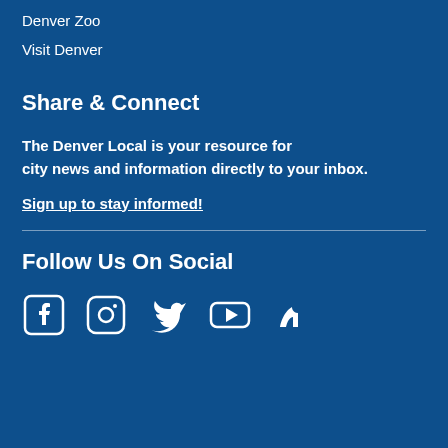Denver Zoo
Visit Denver
Share & Connect
The Denver Local is your resource for city news and information directly to your inbox.
Sign up to stay informed!
Follow Us On Social
[Figure (infographic): Social media icons: Facebook, Instagram, Twitter, YouTube, and Nextdoor]